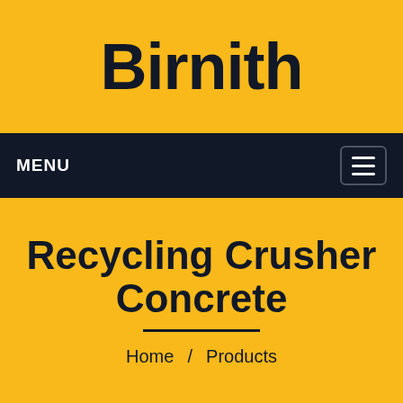Birnith
MENU
Recycling Crusher Concrete
Home / Products